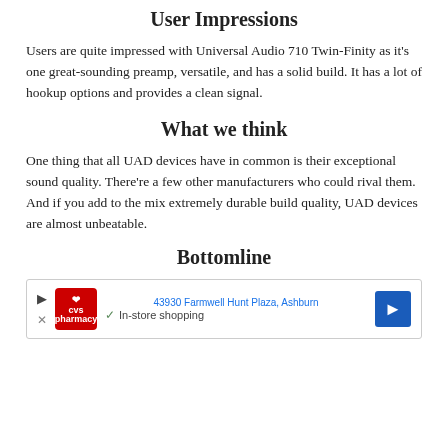User Impressions
Users are quite impressed with Universal Audio 710 Twin-Finity as it’s one great-sounding preamp, versatile, and has a solid build. It has a lot of hookup options and provides a clean signal.
What we think
One thing that all UAD devices have in common is their exceptional sound quality. There’re a few other manufacturers who could rival them. And if you add to the mix extremely durable build quality, UAD devices are almost unbeatable.
Bottomline
[Figure (other): Advertisement banner showing CVS Pharmacy with address 43930 Farmwell Hunt Plaza, Ashburn and In-store shopping label]